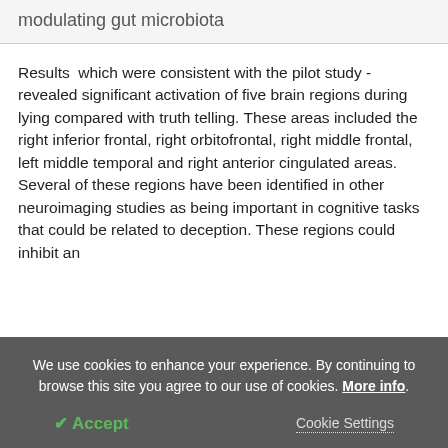modulating gut microbiota
Results  which were consistent with the pilot study - revealed significant activation of five brain regions during lying compared with truth telling. These areas included the right inferior frontal, right orbitofrontal, right middle frontal, left middle temporal and right anterior cingulated areas. Several of these regions have been identified in other neuroimaging studies as being important in cognitive tasks that could be related to deception. These regions could inhibit an
We use cookies to enhance your experience. By continuing to browse this site you agree to our use of cookies. More info.
✔ Accept    Cookie Settings